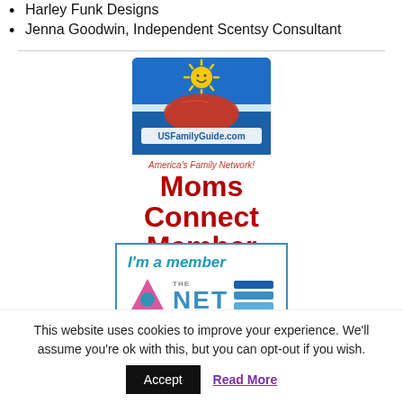Harley Funk Designs
Jenna Goodwin, Independent Scentsy Consultant
[Figure (logo): USFamilyGuide.com logo with smiley sun and map of USA, with text America's Family Network! Moms Connect Member]
[Figure (logo): I'm a member THE NET badge with pink triangle logo and blue NET text]
This website uses cookies to improve your experience. We'll assume you're ok with this, but you can opt-out if you wish.
Accept | Read More